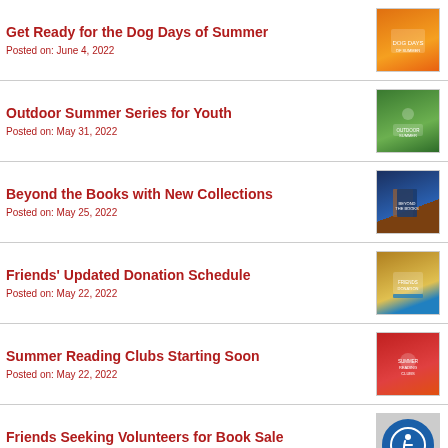Get Ready for the Dog Days of Summer
Posted on: June 4, 2022
Outdoor Summer Series for Youth
Posted on: May 31, 2022
Beyond the Books with New Collections
Posted on: May 25, 2022
Friends' Updated Donation Schedule
Posted on: May 22, 2022
Summer Reading Clubs Starting Soon
Posted on: May 22, 2022
Friends Seeking Volunteers for Book Sale
Posted on: May 19, 2022